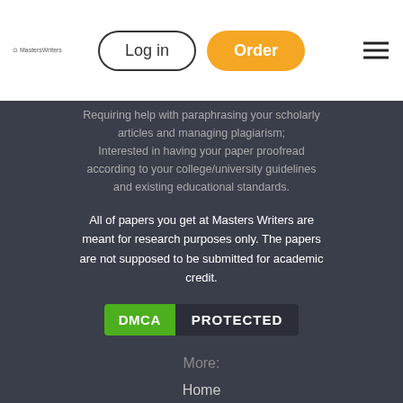Log in | Order
Requiring help with paraphrasing your scholarly articles and managing plagiarism; Interested in having your paper proofread according to your college/university guidelines and existing educational standards.
All of papers you get at Masters Writers are meant for research purposes only. The papers are not supposed to be submitted for academic credit.
[Figure (logo): DMCA PROTECTED badge with green DMCA label and dark PROTECTED label]
More:
Home
Pricing